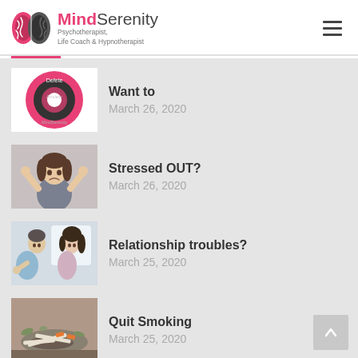MindSerenity - Psychotherapist, Life Coach & Hypnotherapist
[Figure (logo): MindSerenity logo with pink brain icon and text 'MindSerenity Psychotherapist, Life Coach & Hypnotherapist']
Want to - March 26, 2020
Stressed OUT? - March 26, 2020
Relationship troubles? - March 25, 2020
Quit Smoking - March 25, 2020